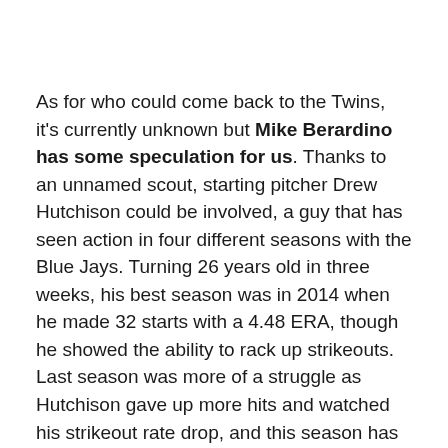As for who could come back to the Twins, it's currently unknown but Mike Berardino has some speculation for us. Thanks to an unnamed scout, starting pitcher Drew Hutchison could be involved, a guy that has seen action in four different seasons with the Blue Jays. Turning 26 years old in three weeks, his best season was in 2014 when he made 32 starts with a 4.48 ERA, though he showed the ability to rack up strikeouts. Last season was more of a struggle as Hutchison gave up more hits and watched his strikeout rate drop, and this season has been spent mainly in Triple-A though he does have a 3.26 ERA in over 100 innings.